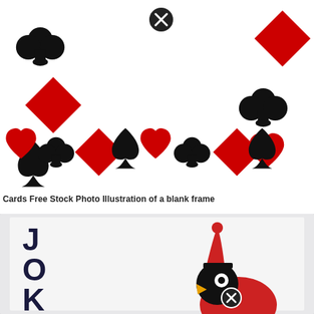[Figure (illustration): Playing card suit symbols arranged in a blank frame pattern: club, diamond, spade, and heart symbols in black and red around the border, with a close circle icon at top center. Row of 8 suits along the bottom edge.]
Cards Free Stock Photo Illustration of a blank frame
[Figure (photo): Photograph of a Joker playing card showing the top portion with 'JOK' letters visible on the left side and a jester/joker character illustration at the bottom right, with a close circle icon overlay.]